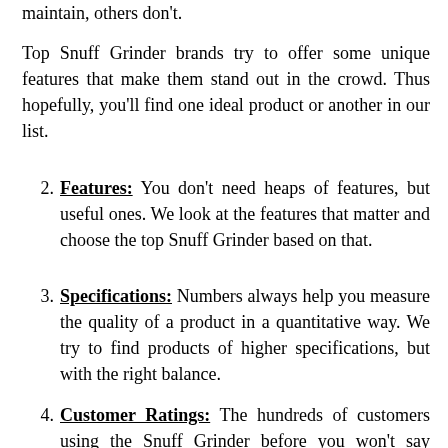maintain, others don't.

Top Snuff Grinder brands try to offer some unique features that make them stand out in the crowd. Thus hopefully, you'll find one ideal product or another in our list.
2. Features: You don't need heaps of features, but useful ones. We look at the features that matter and choose the top Snuff Grinder based on that.
3. Specifications: Numbers always help you measure the quality of a product in a quantitative way. We try to find products of higher specifications, but with the right balance.
4. Customer Ratings: The hundreds of customers using the Snuff Grinder before you won't say wrong, would they? Better ratings mean better service